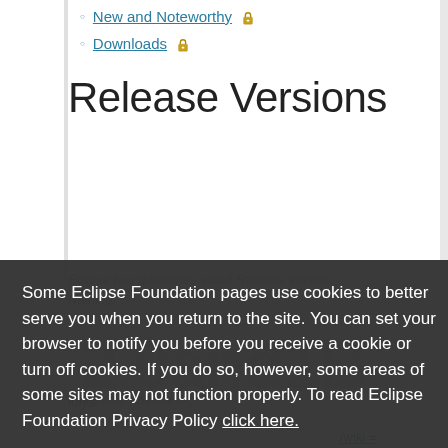New and Noteworthy 🔒
Downloads 🔒
Release Versions
Eclipse has guidelines about Release Version Naming.
Some Eclipse Foundation pages use cookies to better serve you when you return to the site. You can set your browser to notify you before you receive a cookie or turn off cookies. If you do so, however, some areas of some sites may not function properly. To read Eclipse Foundation Privacy Policy click here.
Decline
Allow cookies